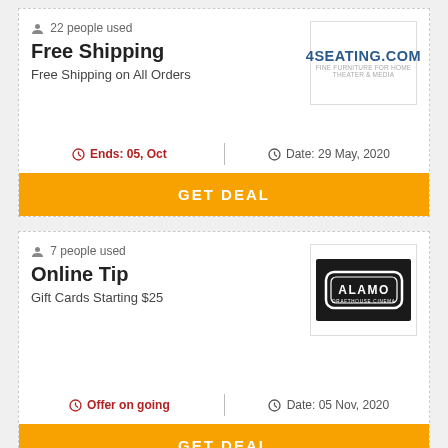22 people used
Free Shipping
Free Shipping on All Orders
[Figure (logo): 4SEATING.COM logo]
Ends: 05, Oct
Date: 29 May, 2020
GET DEAL
7 people used
Online Tip
Gift Cards Starting $25
[Figure (logo): Alamo Drafthouse Cinema logo]
Offer on going
Date: 05 Nov, 2020
GET DEAL